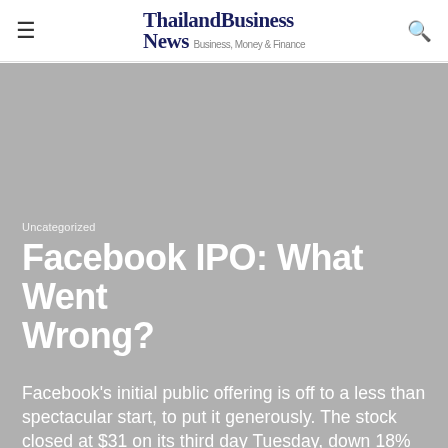ThailandBusiness News — Business, Money & Finance
Uncategorized
Facebook IPO: What Went Wrong?
Facebook's initial public offering is off to a less than spectacular start, to put it generously. The stock closed at $31 on its third day Tuesday, down 18% from its initial offer price of $38, which valued the company just above $100 billion.